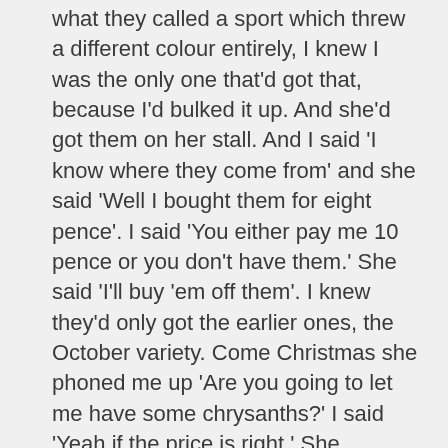what they called a sport which threw a different colour entirely, I knew I was the only one that'd got that, because I'd bulked it up. And she'd got them on her stall. And I said 'I know where they come from' and she said 'Well I bought them for eight pence'. I said 'You either pay me 10 pence or you don't have them.' She said 'I'll buy 'em off them'. I knew they'd only got the earlier ones, the October variety. Come Christmas she phoned me up 'Are you going to let me have some chrysanths?' I said 'Yeah if the price is right.' She couldn't get them, could she? So I named my price and we dealt with her until something went wrong and I wouldn't supply her any more, but during that time I had got 13 shops I was selling flowers to.
When you got to machine so well this didn't off the t...